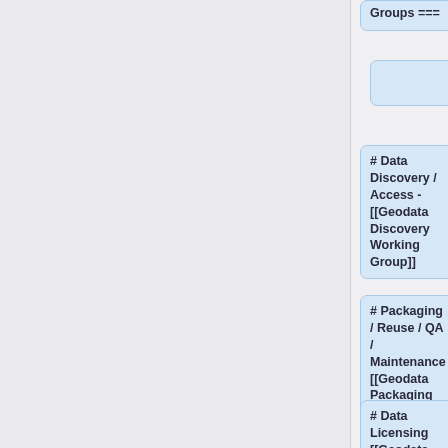Groups ===
# Data Discovery / Access - [[Geodata Discovery Working Group]]
# Packaging / Reuse / QA / Maintenance [[Geodata Packaging Working Group]]
# Data Licensing [[Geodata Licensing